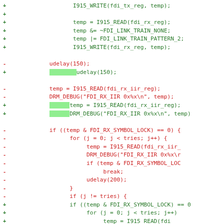[Figure (screenshot): Diff view of source code showing added (+) and removed (-) lines of C code related to FDI link training, including I915_WRITE, I915_READ, udelay, DRM_DEBUG calls, and conditional loops checking FDI_RX_SYMBOL_LOCK. Some added lines have green highlight indicating moved/changed indentation.]